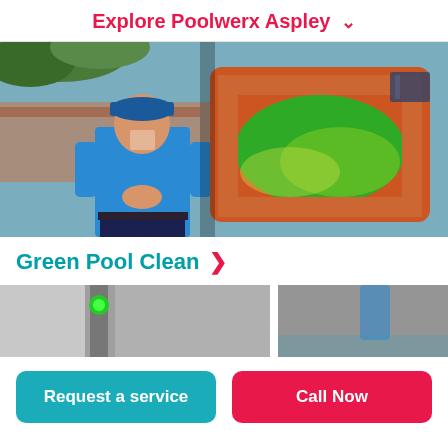Explore Poolwerx Aspley ▾
[Figure (photo): A Poolwerx technician in a blue polo shirt and cap standing outdoors near a house. An inset image shows a green algae-filled swimming pool viewed from above, with terracotta surrounds.]
Green Pool Clean ▶
[Figure (photo): Two partially visible photos at the bottom of the page — left shows a pool device/equipment with a green indicator light, right shows pool cleaning equipment near a pool.]
Request a service
Call Now